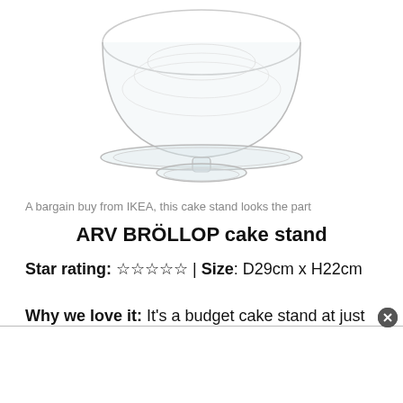[Figure (photo): Glass cake stand with dome cover, clear glass, pedestal base, viewed from slightly above]
A bargain buy from IKEA, this cake stand looks the part
ARV BRÖLLOP cake stand
Star rating: ☆☆☆☆☆ | Size: D29cm x H22cm
Why we love it: It's a budget cake stand at just £12 for both the glass dome and stand.